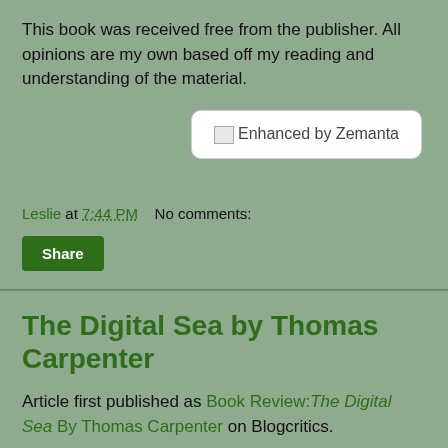This book was received free from the publisher. All opinions are my own based off my reading and understanding of the material.
[Figure (other): Enhanced by Zemanta badge/widget — white rounded rectangle with image placeholder icon and text 'Enhanced by Zemanta']
Leslie at 7:44 PM    No comments:
Share
The Digital Sea by Thomas Carpenter
Article first published as Book Review:The Digital Sea By Thomas Carpenter on Blogcritics.
[Figure (photo): Book cover of 'The Digital Sea' showing blue grid/sea graphic with white text reading 'THE DIGITAL SEA']